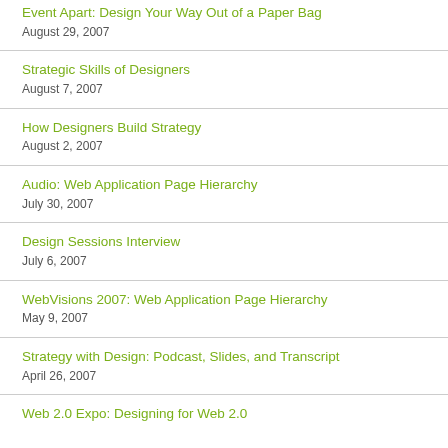Event Apart: Design Your Way Out of a Paper Bag
August 29, 2007
Strategic Skills of Designers
August 7, 2007
How Designers Build Strategy
August 2, 2007
Audio: Web Application Page Hierarchy
July 30, 2007
Design Sessions Interview
July 6, 2007
WebVisions 2007: Web Application Page Hierarchy
May 9, 2007
Strategy with Design: Podcast, Slides, and Transcript
April 26, 2007
Web 2.0 Expo: Designing for Web 2.0